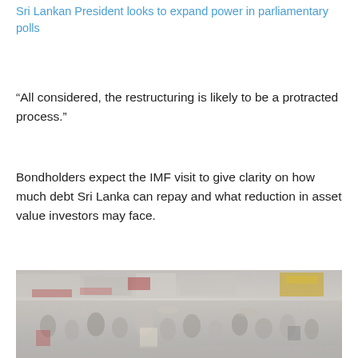Sri Lankan President looks to expand power in parliamentary polls
“All considered, the restructuring is likely to be a protracted process.”
Bondholders expect the IMF visit to give clarity on how much debt Sri Lanka can repay and what reduction in asset value investors may face.
[Figure (photo): A busy street scene in Sri Lanka with crowds of people, market stalls, colorful signage including a yellow sign on the right side.]